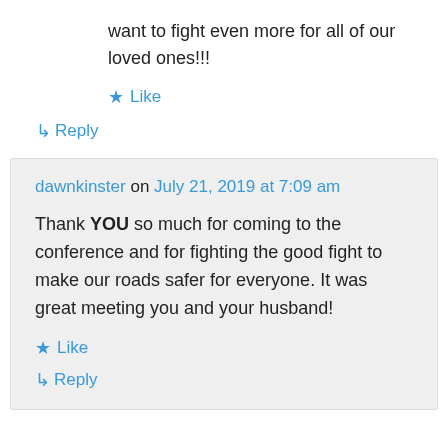want to fight even more for all of our loved ones!!!
★ Like
↳ Reply
dawnkinster on July 21, 2019 at 7:09 am
Thank YOU so much for coming to the conference and for fighting the good fight to make our roads safer for everyone. It was great meeting you and your husband!
★ Like
↳ Reply